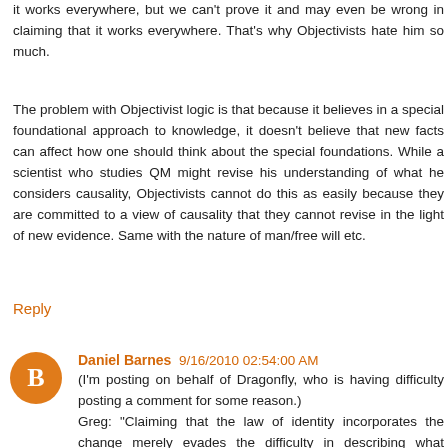it works everywhere, but we can't prove it and may even be wrong in claiming that it works everywhere. That's why Objectivists hate him so much.
The problem with Objectivist logic is that because it believes in a special foundational approach to knowledge, it doesn't believe that new facts can affect how one should think about the special foundations. While a scientist who studies QM might revise his understanding of what he considers causality, Objectivists cannot do this as easily because they are committed to a view of causality that they cannot revise in the light of new evidence. Same with the nature of man/free will etc.
Reply
Daniel Barnes  9/16/2010 02:54:00 AM
(I'm posting on behalf of Dragonfly, who is having difficulty posting a comment for some reason.)
Greg: "Claiming that the law of identity incorporates the change merely evades the difficulty in describing what personal identity is all about. It is problematical and difficult